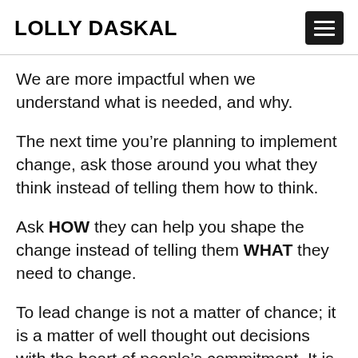LOLLY DASKAL
We are more impactful when we understand what is needed, and why.
The next time you’re planning to implement change, ask those around you what they think instead of telling them how to think.
Ask HOW they can help you shape the change instead of telling them WHAT they need to change.
To lead change is not a matter of chance; it is a matter of well thought out decisions with the heart of people’s commitment. It is not a thing to be